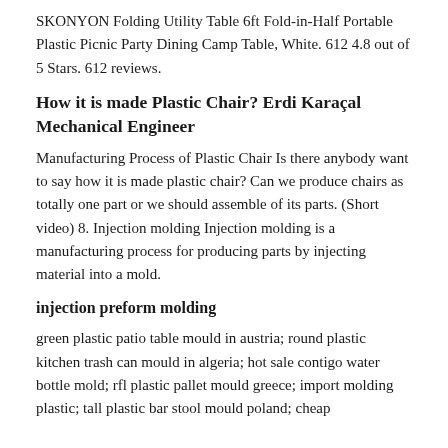SKONYON Folding Utility Table 6ft Fold-in-Half Portable Plastic Picnic Party Dining Camp Table, White. 612 4.8 out of 5 Stars. 612 reviews.
How it is made Plastic Chair? Erdi Karaçal Mechanical Engineer
Manufacturing Process of Plastic Chair Is there anybody want to say how it is made plastic chair? Can we produce chairs as totally one part or we should assemble of its parts. (Short video) 8. Injection molding Injection molding is a manufacturing process for producing parts by injecting material into a mold.
injection preform molding
green plastic patio table mould in austria; round plastic kitchen trash can mould in algeria; hot sale contigo water bottle mold; rfl plastic pallet mould greece; import molding plastic; tall plastic bar stool mould poland; cheap